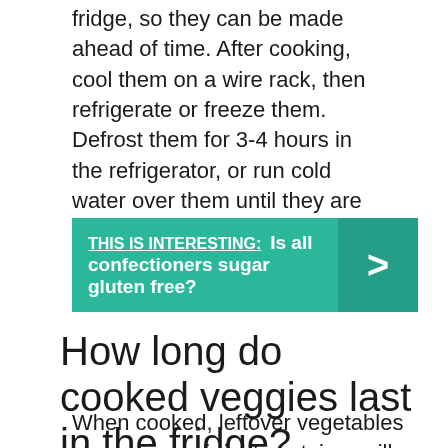These burgers will keep up to 5 days in the fridge, so they can be made ahead of time. After cooking, cool them on a wire rack, then refrigerate or freeze them. Defrost them for 3-4 hours in the refrigerator, or run cold water over them until they are soft.
[Figure (infographic): Teal/green banner with label 'THIS IS INTERESTING:' underlined in white bold text, followed by bold white text 'Is all confectioners sugar gluten free?' and a right-arrow chevron on a darker teal right panel.]
How long do cooked veggies last in the fridge?
When cooked, leftover vegetables stored in an airtight container will usually keep up to 3–7 days in the refrigerator. Cooked canned vegetables like beans or other legumes